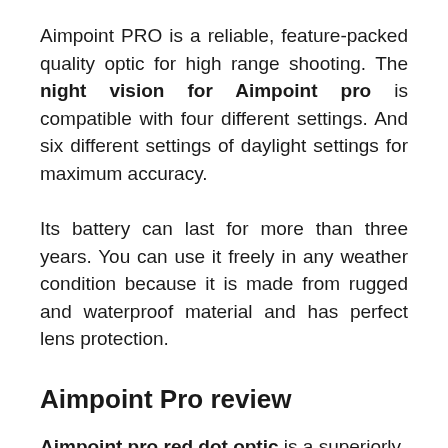Aimpoint PRO is a reliable, feature-packed quality optic for high range shooting. The night vision for Aimpoint pro is compatible with four different settings. And six different settings of daylight settings for maximum accuracy.
Its battery can last for more than three years. You can use it freely in any weather condition because it is made from rugged and waterproof material and has perfect lens protection.
Aimpoint Pro review
Aimpoint pro red dot optic is a superiorly